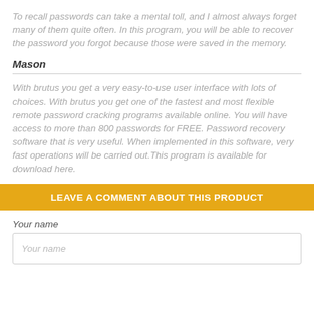To recall passwords can take a mental toll, and I almost always forget many of them quite often. In this program, you will be able to recover the password you forgot because those were saved in the memory.
Mason
With brutus you get a very easy-to-use user interface with lots of choices. With brutus you get one of the fastest and most flexible remote password cracking programs available online. You will have access to more than 800 passwords for FREE. Password recovery software that is very useful. When implemented in this software, very fast operations will be carried out.This program is available for download here.
LEAVE A COMMENT ABOUT THIS PRODUCT
Your name
Your name